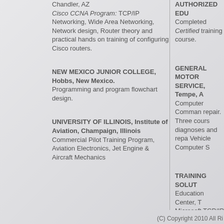Chandler, AZ
Cisco CCNA Program: TCP/IP Networking, Wide Area Networking, Network design, Router theory and practical hands on training of configuring Cisco routers.
NEW MEXICO JUNIOR COLLEGE, Hobbs, New Mexico.
Programming and program flowchart design.
UNIVERSITY OF ILLINOIS, Institute of Aviation, Champaign, Illinois
Commercial Pilot Training Program, Aviation Electronics, Jet Engine & Aircraft Mechanics
AUTHORIZED EDU
Completed Certified training course.
GENERAL MOTOR SERVICE, Tempe, A
Computer Comman repair.  Three cours diagnoses and repa Vehicle Computer S
TRAINING SOLUT Education Center, T Microsoft TCP/IP o
(C) Copyright 2010 All Ri